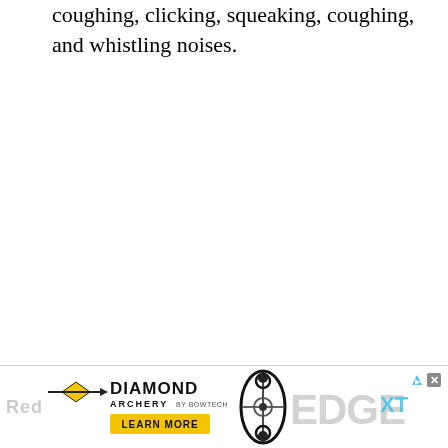coughing, clicking, squeaking, coughing, and whistling noises.
There are several treatments for air sac mites, but Ivermectin is preferred.
[Figure (other): Diamond Archery advertisement banner showing the Diamond Archery logo, a compound bow image, and 'EDGE XT' text in gray, with a yellow 'LEARN MORE' button and close/AdChoices icons.]